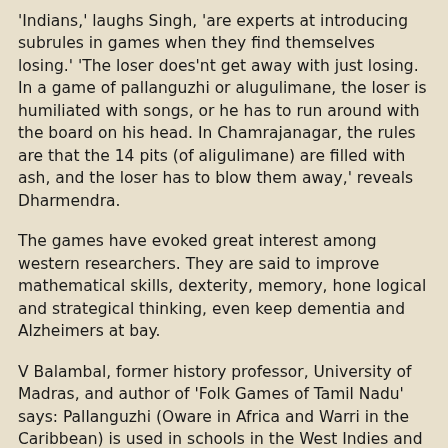'Indians,' laughs Singh, 'are experts at introducing subrules in games when they find themselves losing.' 'The loser does'nt get away with just losing. In a game of pallanguzhi or alugulimane, the loser is humiliated with songs, or he has to run around with the board on his head. In Chamrajanagar, the rules are that the 14 pits (of aligulimane) are filled with ash, and the loser has to blow them away,' reveals Dharmendra.
The games have evoked great interest among western researchers. They are said to improve mathematical skills, dexterity, memory, hone logical and strategical thinking, even keep dementia and Alzheimers at bay.
V Balambal, former history professor, University of Madras, and author of 'Folk Games of Tamil Nadu' says: Pallanguzhi (Oware in Africa and Warri in the Caribbean) is used in schools in the West Indies and Africa to improve mental skills and teach arithmetics. Balambal rues that while these games are often topics of research in the West, they have evoked very little interest back home. 'My Spanish friend, who is visually impaired, has proved that Pallanguzhi can be